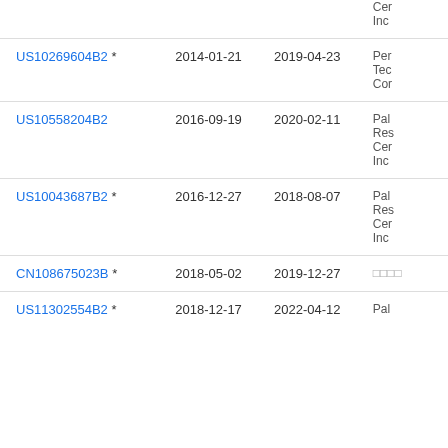| Patent Number | Filing Date | Publication Date | Assignee |
| --- | --- | --- | --- |
|  |  |  | Cer
Inc |
| US10269604B2 * | 2014-01-21 | 2019-04-23 | Per
Tec
Cor |
| US10558204B2 | 2016-09-19 | 2020-02-11 | Pal
Res
Cer
Inc |
| US10043687B2 * | 2016-12-27 | 2018-08-07 | Pal
Res
Cer
Inc |
| CN108675023B * | 2018-05-02 | 2019-12-27 | □□□□ |
| US11302554B2 * | 2018-12-17 | 2022-04-12 | Pal |